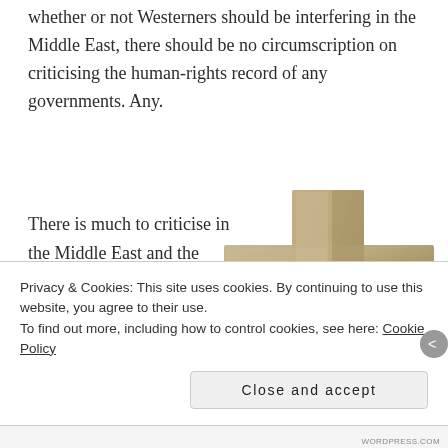whether or not Westerners should be interfering in the Middle East, there should be no circumscription on criticising the human-rights record of any governments. Any.
There is much to criticise in the Middle East and the Israeli government is not immune from it.
[Figure (illustration): A 3D rendered tan/beige colored Christian cross symbol centered-right on the page]
Privacy & Cookies: This site uses cookies. By continuing to use this website, you agree to their use.
To find out more, including how to control cookies, see here: Cookie Policy
Close and accept